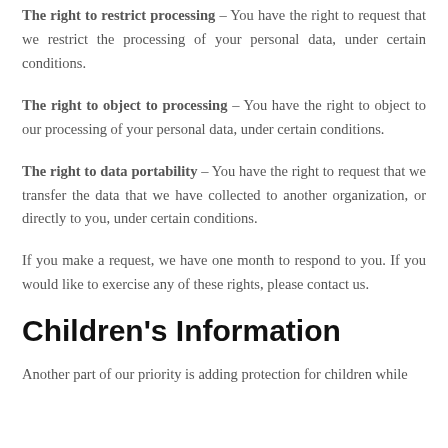The right to restrict processing – You have the right to request that we restrict the processing of your personal data, under certain conditions.
The right to object to processing – You have the right to object to our processing of your personal data, under certain conditions.
The right to data portability – You have the right to request that we transfer the data that we have collected to another organization, or directly to you, under certain conditions.
If you make a request, we have one month to respond to you. If you would like to exercise any of these rights, please contact us.
Children's Information
Another part of our priority is adding protection for children while